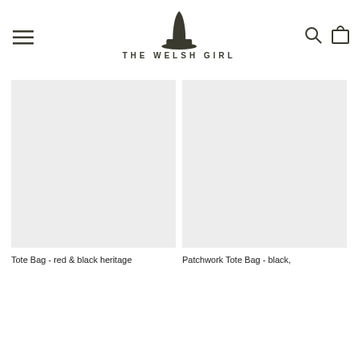THE WELSH GIRL
[Figure (photo): Product image placeholder - grey rectangle for Tote Bag red and black heritage]
Tote Bag - red & black heritage
[Figure (photo): Product image placeholder - grey rectangle for Patchwork Tote Bag black]
Patchwork Tote Bag - black,